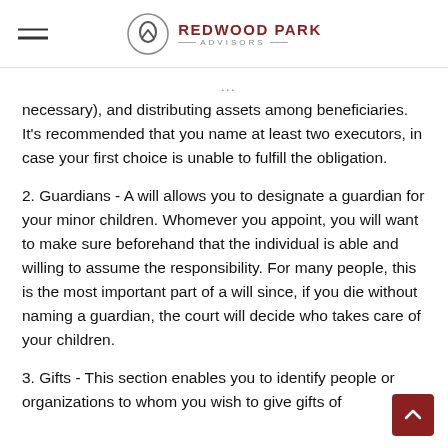REDWOOD PARK ADVISORS
...paying debts (if necessary), and distributing assets among beneficiaries. It's recommended that you name at least two executors, in case your first choice is unable to fulfill the obligation.
2. Guardians - A will allows you to designate a guardian for your minor children. Whomever you appoint, you will want to make sure beforehand that the individual is able and willing to assume the responsibility. For many people, this is the most important part of a will since, if you die without naming a guardian, the court will decide who takes care of your children.
3. Gifts - This section enables you to identify people or organizations to whom you wish to give gifts of